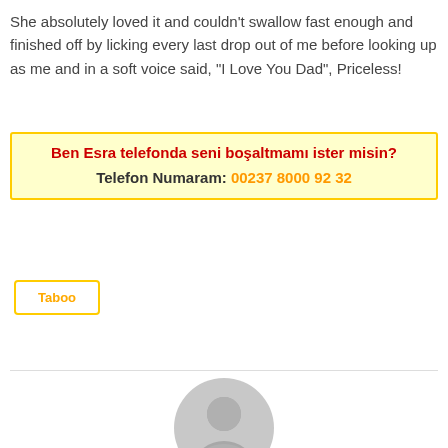She absolutely loved it and couldn't swallow fast enough and finished off by licking every last drop out of me before looking up as me and in a soft voice said, “I Love You Dad”, Priceless!
Ben Esra telefonda seni boşaltmamı ister misin?
Telefon Numaram: 00237 8000 92 32
Taboo
[Figure (illustration): Generic grey user avatar icon showing a silhouette of a person]